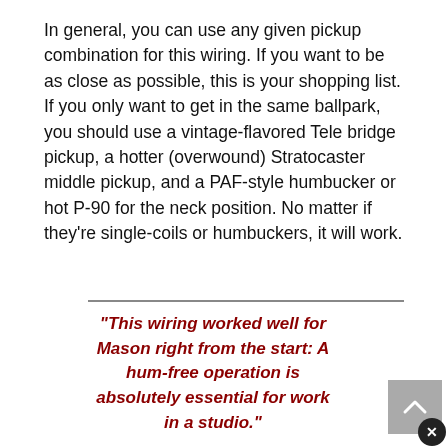In general, you can use any given pickup combination for this wiring. If you want to be as close as possible, this is your shopping list. If you only want to get in the same ballpark, you should use a vintage-flavored Tele bridge pickup, a hotter (overwound) Stratocaster middle pickup, and a PAF-style humbucker or hot P-90 for the neck position. No matter if they're single-coils or humbuckers, it will work.
"This wiring worked well for Mason right from the start: A hum-free operation is absolutely essential for work in a studio."
Why did Mason choose such an unusual pickup combination, you might ask? According to Mason himself,